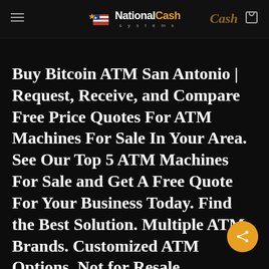National Cash Systems
Buy Bitcoin ATM San Antonio | Request, Receive, and Compare Free Price Quotes For ATM Machines For Sale In Your Area. See Our Top 5 ATM Machines For Sale and Get A Free Quote For Your Business Today. Find the Best Solution. Multiple ATM Brands. Customized ATM Options. Not for Resale.